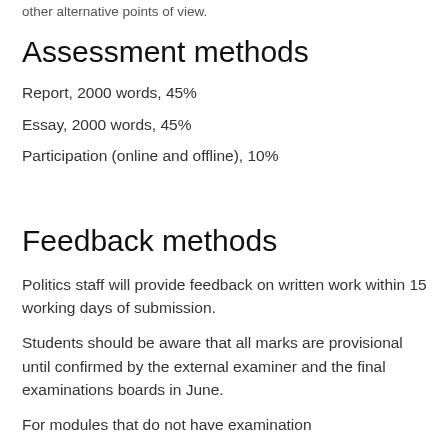other alternative points of view.
Assessment methods
Report, 2000 words, 45%
Essay, 2000 words, 45%
Participation (online and offline), 10%
Feedback methods
Politics staff will provide feedback on written work within 15 working days of submission.
Students should be aware that all marks are provisional until confirmed by the external examiner and the final examinations boards in June.
For modules that do not have examination